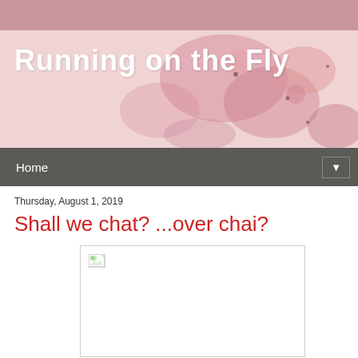Running on the Fly
Shall we chat? ...over chai?
Thursday, August 1, 2019
[Figure (photo): Broken/missing image placeholder with broken image icon in top left corner]